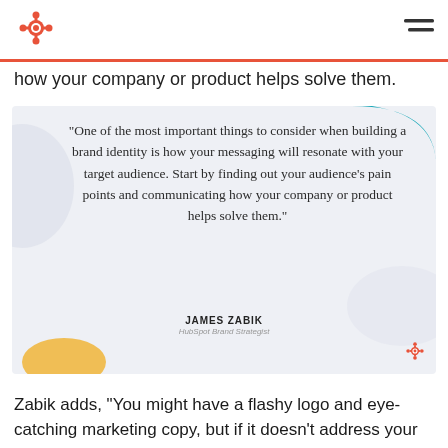HubSpot logo and navigation
how your company or product helps solve them.
[Figure (illustration): Quote card with light blue-gray background, decorative teal blob top-right, gray blobs, yellow blob bottom-left, HubSpot logo bottom-right. Contains a block quote and attribution.]
"One of the most important things to consider when building a brand identity is how your messaging will resonate with your target audience. Start by finding out your audience's pain points and communicating how your company or product helps solve them."
JAMES ZABIK
HubSpot Brand Strategist
Zabik adds, "You might have a flashy logo and eye-catching marketing copy, but if it doesn't address your customers' pain points clearly and effectively, it'll